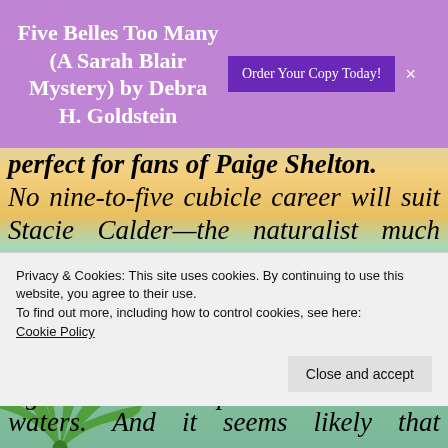Five Belles Too Many (A Sarah Blair Mystery) by Debra H. Goldstein | Order Your Copy Today!
perfect for fans of Paige Shelton. No nine-to-five cubicle career will suit Stacie Calder—the naturalist much prefers working in the great outdoors. Specifically, the spacious and spectacular Alaskan wilderness, whose rugged charms she shares with sightseers on the top deck of the tour boat she captains. But one e... waters. And it seems likely that someone gave
Privacy & Cookies: This site uses cookies. By continuing to use this website, you agree to their use.
To find out more, including how to control cookies, see here:
Cookie Policy
Close and accept